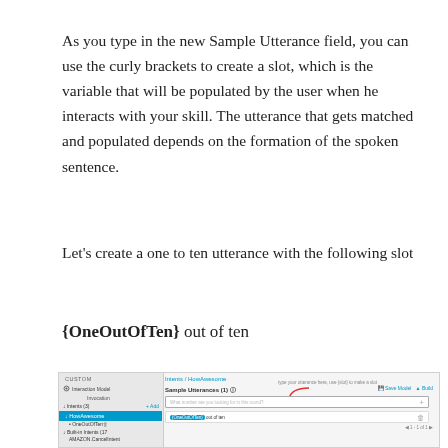As you type in the new Sample Utterance field, you can use the curly brackets to create a slot, which is the variable that will be populated by the user when he interacts with your skill. The utterance that gets matched and populated depends on the formation of the spoken sentence.
Let's create a one to ten utterance with the following slot
{OneOutOfTen} out of ten
[Figure (screenshot): Screenshot of Amazon Alexa skill builder interface showing Intents / HowAwesome page with Sample Utterances section. A red arrow points to the input field. Below shows '{OneOutOfTen} out of ten' as an entered utterance.]